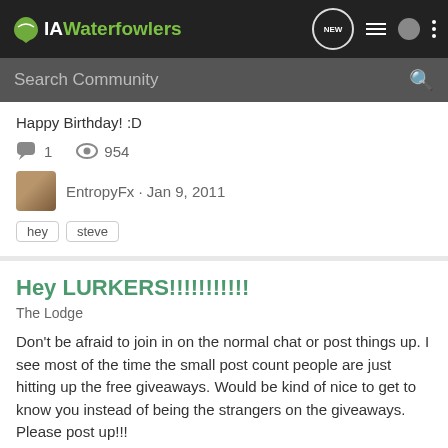IAWaterfowlers
Happy Birthday! :D
1  954
EntropyFx · Jan 9, 2011
hey  steve
Hey LURKERS!!!!!!!!!!!
The Lodge
Don't be afraid to join in on the normal chat or post things up. I see most of the time the small post count people are just hitting up the free giveaways. Would be kind of nice to get to know you instead of being the strangers on the giveaways. Please post up!!!